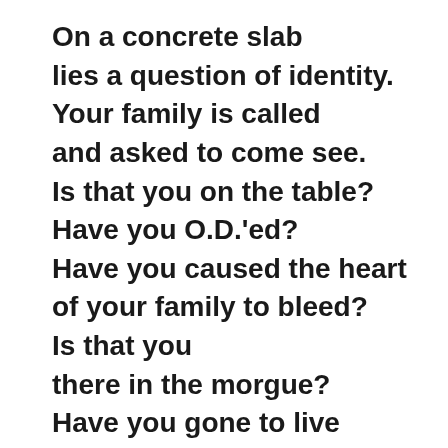On a concrete slab
lies a question of identity.
Your family is called
and asked to come see.
Is that you on the table?
Have you O.D.'ed?
Have you caused the heart
of your family to bleed?
Is that you
there in the morgue?
Have you gone to live
with your Lord?
Only God knows
this very day
if that is you